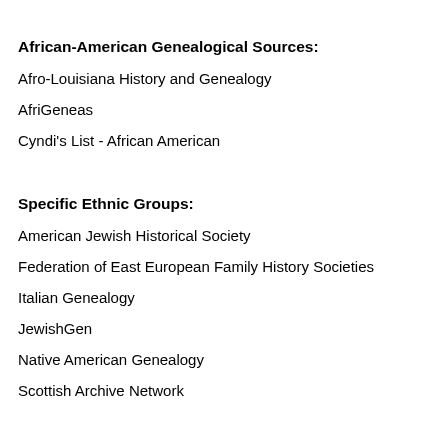African-American Genealogical Sources:
Afro-Louisiana History and Genealogy
AfriGeneas
Cyndi's List - African American
Specific Ethnic Groups:
American Jewish Historical Society
Federation of East European Family History Societies
Italian Genealogy
JewishGen
Native American Genealogy
Scottish Archive Network